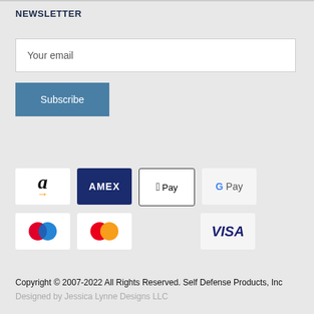NEWSLETTER
Your email
Subscribe
[Figure (infographic): Payment method icons: Amazon, AMEX, Apple Pay, Google Pay, two circle-based payment icons (Maestro/similar), Mastercard, and VISA]
Copyright © 2007-2022 All Rights Reserved. Self Defense Products, Inc
Designed by Jessica Lynne Designs LLC